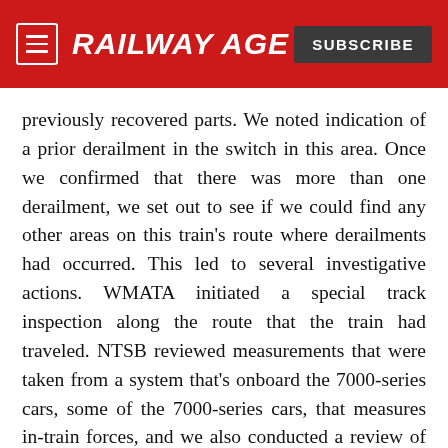RAILWAY AGE | SUBSCRIBE
previously recovered parts. We noted indication of a prior derailment in the switch in this area. Once we confirmed that there was more than one derailment, we set out to see if we could find any other areas on this train's route where derailments had occurred. This led to several investigative actions. WMATA initiated a special track inspection along the route that the train had traveled. NTSB reviewed measurements that were taken from a system that's onboard the 7000-series cars, some of the 7000-series cars, that measures in-train forces, and we also conducted a review of station platform video to see if any of these events were captured on platform video as the train was traveling. This led us to another